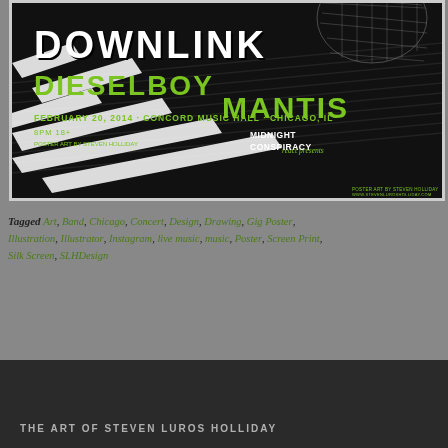[Figure (illustration): Concert/gig poster for Downlink with Dieselboy and Mantis at Concord Music Hall, Chicago IL, February 20, 2014. Black background with stylized graffiti-style lettering in white and lime green. Text: DOWNLINK, DIESELBOY MANTIS, FEBRUARY 20, 2014, 8PM, 18+, CONCORD MUSIC HALL CHICAGO IL, MIDNIGHT CONSPIRACY, react presents. Poster art by Steven Holliday.]
Tagged Art, Band, Chicago, Concert, Design, Drawing, Gig Poster, Illustration, Illustrator, Instagram, live music, music, Poster, Screen Print, Silk Screen, SLHDesign
THE ART OF STEVEN LUROS HOLLIDAY